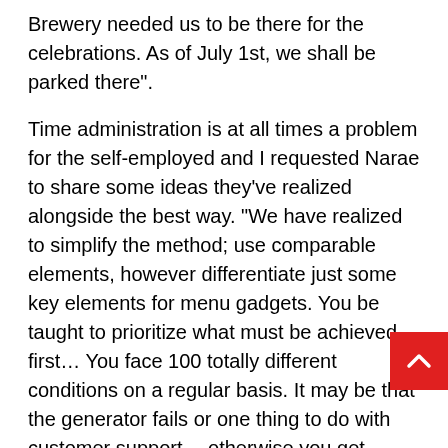Brewery needed us to be there for the celebrations. As of July 1st, we shall be parked there".
Time administration is at all times a problem for the self-employed and I requested Narae to share some ideas they've realized alongside the best way. "We have realized to simplify the method; use comparable elements, however differentiate just some key elements for menu gadgets. You be taught to prioritize what must be achieved first… You face 100 totally different conditions on a regular basis. It may be that the generator fails or one thing to do with customer support… otherwise you get injured from sizzling oil. Sizzling climate is likely one of the largest challenges, in addition to cooking underneath stress when there are 10 individuals watching me to make their meals fa There are too many to say right here… However I can positively let you know that racism is not a
[Figure (other): Red scroll-to-top button with upward chevron arrow, positioned at bottom right of page]